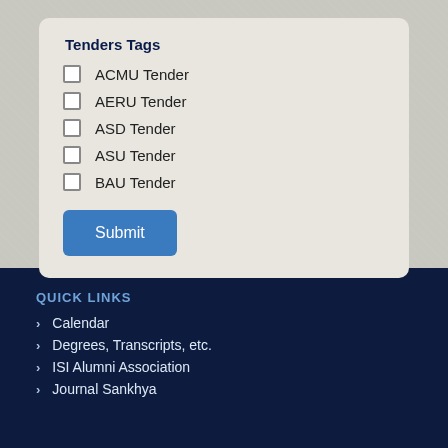Tenders Tags
ACMU Tender
AERU Tender
ASD Tender
ASU Tender
BAU Tender
QUICK LINKS
Calendar
Degrees, Transcripts, etc.
ISI Alumni Association
Journal Sankhya